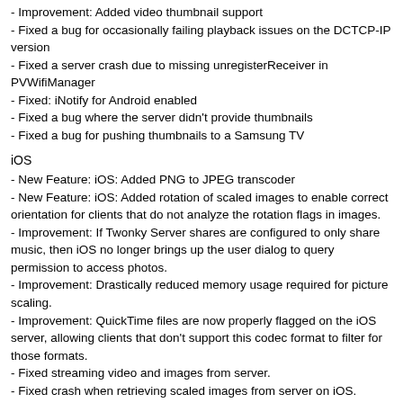- Improvement: Added video thumbnail support
- Fixed a bug for occasionally failing playback issues on the DCTCP-IP version
- Fixed a server crash due to missing unregisterReceiver in PVWifiManager
- Fixed: iNotify for Android enabled
- Fixed a bug where the server didn't provide thumbnails
- Fixed a bug for pushing thumbnails to a Samsung TV
iOS
- New Feature: iOS: Added PNG to JPEG transcoder
- New Feature: iOS: Added rotation of scaled images to enable correct orientation for clients that do not analyze the rotation flags in images.
- Improvement: If Twonky Server shares are configured to only share music, then iOS no longer brings up the user dialog to query permission to access photos.
- Improvement: Drastically reduced memory usage required for picture scaling.
- Improvement: QuickTime files are now properly flagged on the iOS server, allowing clients that don't support this codec format to filter for those formats.
- Fixed streaming video and images from server.
- Fixed crash when retrieving scaled images from server on iOS.
- Fixed possible crash in AirPlay module on iOS 7.
- Fixed a crash that happened due not renamed Reachability class